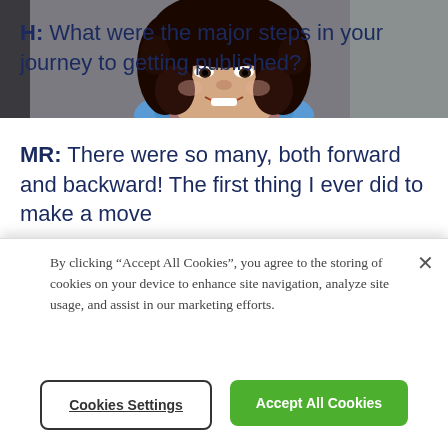[Figure (photo): Photograph of a woman with curly dark hair, smiling, wearing a colorful top, shown from shoulders up]
H: What were the major steps in your journey to getting published?
MR: There were so many, both forward and backward! The first thing I ever did to make a move
By clicking “Accept All Cookies”, you agree to the storing of cookies on your device to enhance site navigation, analyze site usage, and assist in our marketing efforts.
Cookies Settings
Accept All Cookies